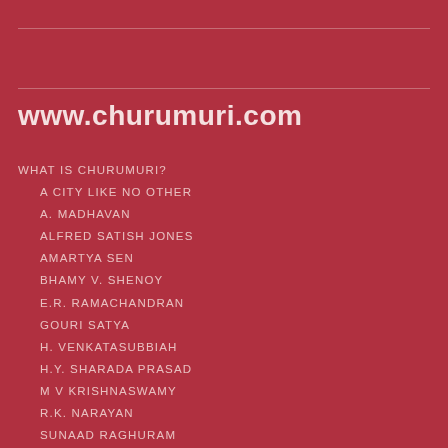www.churumuri.com
WHAT IS CHURUMURI?
A CITY LIKE NO OTHER
A. MADHAVAN
ALFRED SATISH JONES
AMARTYA SEN
BHAMY V. SHENOY
E.R. RAMACHANDRAN
GOURI SATYA
H. VENKATASUBBIAH
H.Y. SHARADA PRASAD
M V KRISHNASWAMY
R.K. NARAYAN
SUNAAD RAGHURAM
T.J.S. GEORGE
T.S. NAGARAJAN